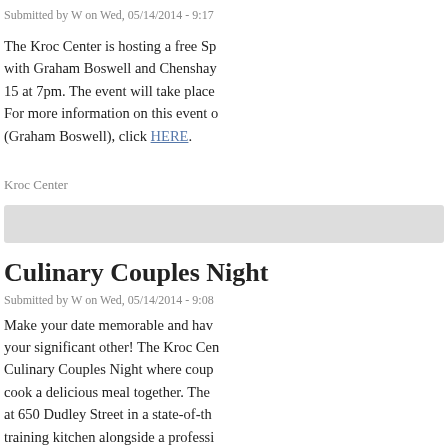Submitted by W on Wed, 05/14/2014 - 9:17
The Kroc Center is hosting a free Sp with Graham Boswell and Chenshay 15 at 7pm. The event will take place For more information on this event o (Graham Boswell), click HERE.
Kroc Center
[Figure (other): Gray bar / image placeholder]
Culinary Couples Night
Submitted by W on Wed, 05/14/2014 - 9:08
Make your date memorable and have your significant other! The Kroc Cent Culinary Couples Night where couple cook a delicious meal together. The at 650 Dudley Street in a state-of-the training kitchen alongside a professio a scrumptious dinner in the dining ha soothing music. Don't have a date? or co-worker! Singles are welcome